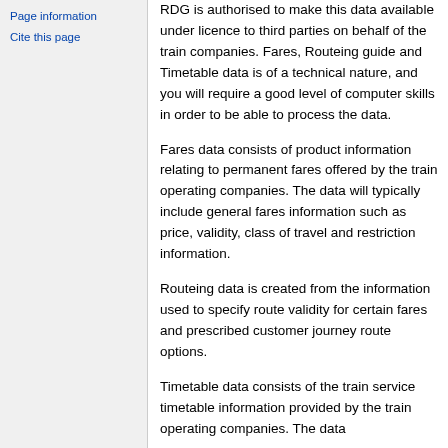Page information
Cite this page
RDG is authorised to make this data available under licence to third parties on behalf of the train companies. Fares, Routeing guide and Timetable data is of a technical nature, and you will require a good level of computer skills in order to be able to process the data.
Fares data consists of product information relating to permanent fares offered by the train operating companies. The data will typically include general fares information such as price, validity, class of travel and restriction information.
Routeing data is created from the information used to specify route validity for certain fares and prescribed customer journey route options.
Timetable data consists of the train service timetable information provided by the train operating companies. The data